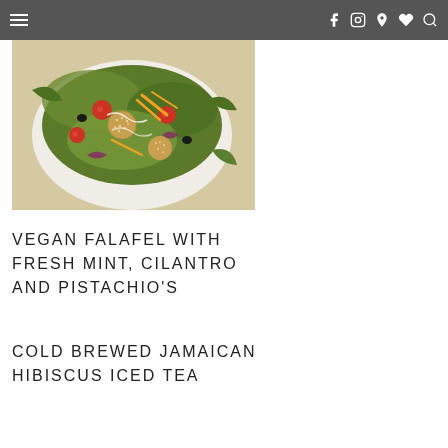Navigation bar with hamburger menu and social icons
[Figure (photo): Close-up photo of a vegan falafel salad with fresh greens, cherry tomatoes, shredded carrots, red onion, and sesame-crusted falafel balls on a white plate]
VEGAN FALAFEL WITH FRESH MINT, CILANTRO AND PISTACHIO'S
COLD BREWED JAMAICAN HIBISCUS ICED TEA